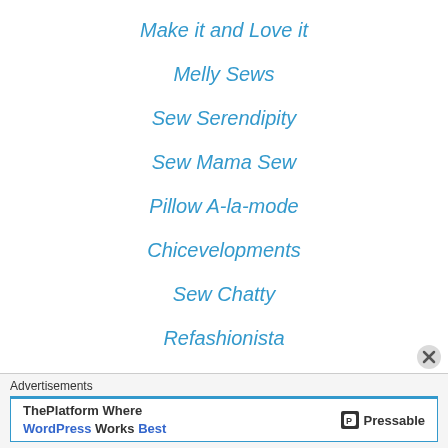Make it and Love it
Melly Sews
Sew Serendipity
Sew Mama Sew
Pillow A-la-mode
Chicevelopments
Sew Chatty
Refashionista
Sewaholic
Advertisements
ThePlatform Where WordPress Works Best — Pressable